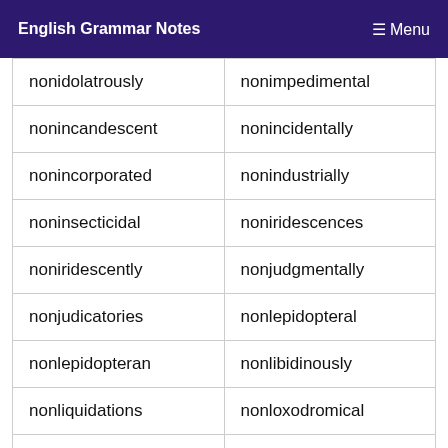English Grammar Notes   ≡ Menu
| nonidolatrously | nonimpedimental |
| nonincandescent | nonincidentally |
| nonincorporated | nonindustrially |
| noninsecticidal | noniridescences |
| noniridescently | nonjudgmentally |
| nonjudicatories | nonlepidopteral |
| nonlepidopteran | nonlibidinously |
| nonliquidations | nonloxodromical |
| nonmanufactured | nonmeditatively |